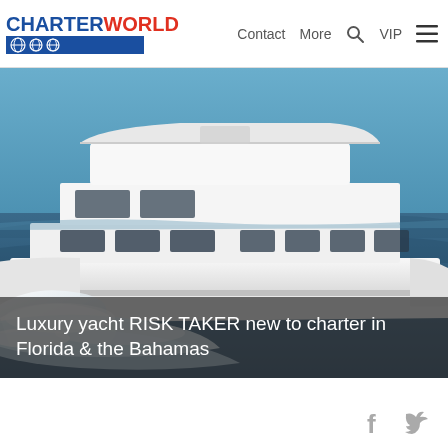CHARTERWORLD — Contact | More | Search | VIP | Menu
[Figure (photo): Luxury motor yacht RISK TAKER underway at speed, white hull, multiple decks, ocean spray, blue water background]
Luxury yacht RISK TAKER new to charter in Florida & the Bahamas